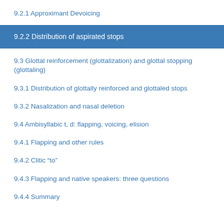9.2.1 Approximant Devoicing
9.2.2 Distribution of aspirated stops
9.3 Glottal reinforcement (glottalization) and glottal stopping (glottaling)
9.3.1 Distribution of glottally reinforced and glottaled stops
9.3.2 Nasalization and nasal deletion
9.4 Ambisyllabic t, d: flapping, voicing, elision
9.4.1 Flapping and other rules
9.4.2 Clitic “to”
9.4.3 Flapping and native speakers: three questions
9.4.4 Summary